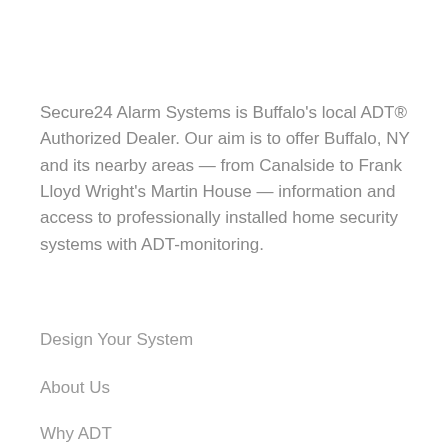Secure24 Alarm Systems is Buffalo's local ADT® Authorized Dealer. Our aim is to offer Buffalo, NY and its nearby areas — from Canalside to Frank Lloyd Wright's Martin House — information and access to professionally installed home security systems with ADT-monitoring.
Design Your System
About Us
Why ADT